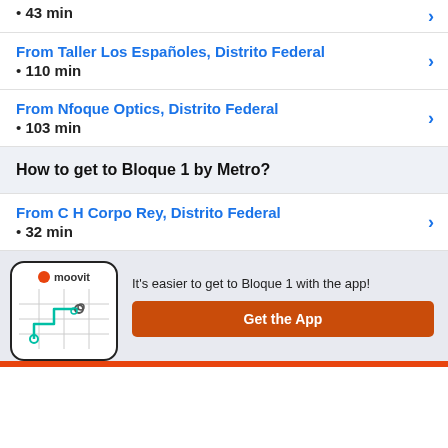• 43 min
From Taller Los Españoles, Distrito Federal
• 110 min
From Nfoque Optics, Distrito Federal
• 103 min
How to get to Bloque 1 by Metro?
From C H Corpo Rey, Distrito Federal
• 32 min
[Figure (screenshot): Moovit app banner with phone illustration showing map with route, Moovit logo, text 'It's easier to get to Bloque 1 with the app!' and orange 'Get the App' button]